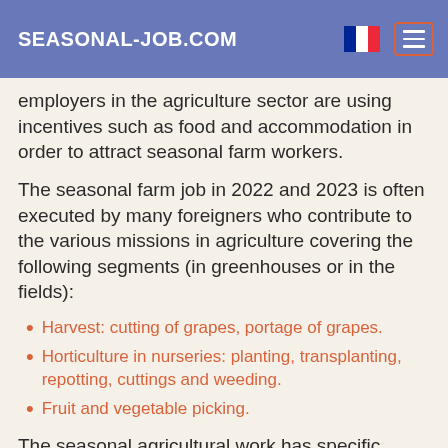SEASONAL-JOB.COM
employers in the agriculture sector are using incentives such as food and accommodation in order to attract seasonal farm workers.
The seasonal farm job in 2022 and 2023 is often executed by many foreigners who contribute to the various missions in agriculture covering the following segments (in greenhouses or in the fields):
Harvest: cutting of grapes, portage of grapes.
Horticulture in nurseries: planting, transplanting, repotting, cuttings and weeding.
Fruit and vegetable picking.
The seasonal agricultural work has specific seasons for every type of jobs and where staff is